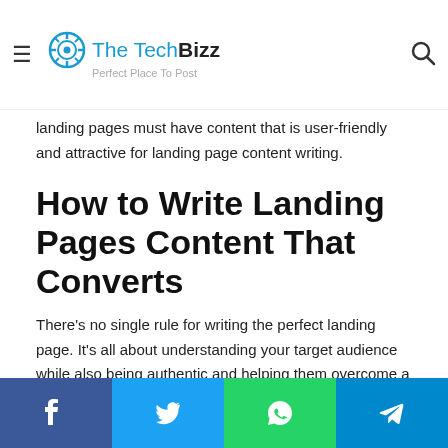The Tech Bizz — Perfect Place To Post
the sign in for an email list or an inquiry to learn more in order to prepare the reader to take the next step, the landing pages must have content that is user-friendly and attractive for landing page content writing.
How to Write Landing Pages Content That Converts
There's no single rule for writing the perfect landing page. It's all about understanding your target audience while also being authentic and helping them overcome a challenge.
With this goal in your head, write your landing page copy exactly the way you write every other piece, taking each
Facebook | Twitter | WhatsApp | Telegram